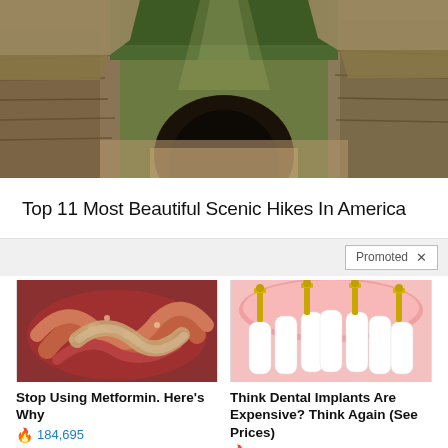[Figure (photo): Scenic canyon hike photo showing sandstone rock formations with green trees and sunlight streaming through]
Top 11 Most Beautiful Scenic Hikes In America
Promoted X
[Figure (photo): Close-up medical image of intestines or internal organs, reddish-brown color]
Stop Using Metformin. Here's Why 184,695
[Figure (illustration): Dental implant illustration showing white teeth on pink gums with gold implant screws]
Think Dental Implants Are Expensive? Think Again (See Prices) 22,813